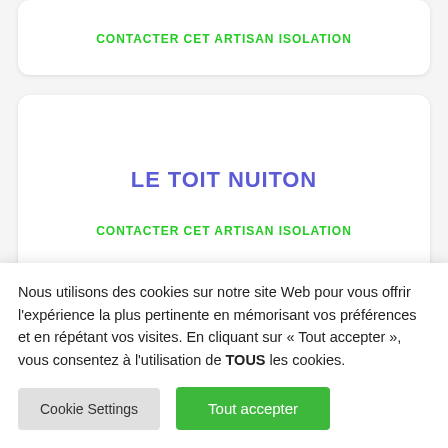CONTACTER CET ARTISAN ISOLATION
LE TOIT NUITON
CONTACTER CET ARTISAN ISOLATION
Nous utilisons des cookies sur notre site Web pour vous offrir l'expérience la plus pertinente en mémorisant vos préférences et en répétant vos visites. En cliquant sur « Tout accepter », vous consentez à l'utilisation de TOUS les cookies.
Cookie Settings
Tout accepter